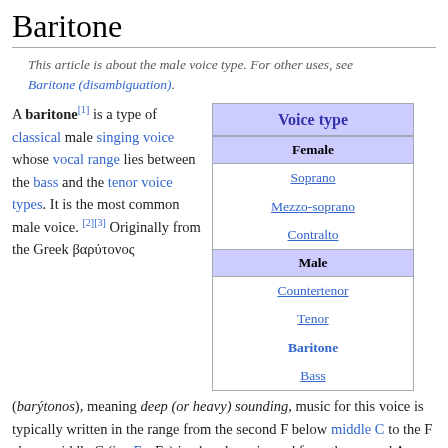Baritone
This article is about the male voice type. For other uses, see Baritone (disambiguation).
A baritone[1] is a type of classical male singing voice whose vocal range lies between the bass and the tenor voice types. It is the most common male voice. [2][3] Originally from the Greek βαρύτονος (barýtonos), meaning deep (or heavy) sounding, music for this voice is typically written in the range from the second F below middle C to the F above middle C (i.e. F2–F4) in choral music, and from the second A below middle C to the A above middle C (A2 to A4) in operatic music, but can be extended at either end. The baritone voice type is generally divided into the baryton-Martin
| Voice type |
| --- |
| Female |
| Soprano |
| Mezzo-soprano |
| Contralto |
| Male |
| Countertenor |
| Tenor |
| Baritone |
| Bass |